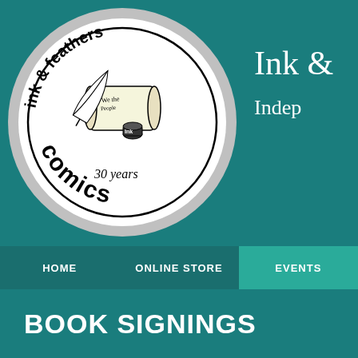[Figure (logo): Ink & Feathers Comics circular logo in black and white. Features a feather quill pen, a scroll reading 'We the People', an ink well labeled 'Ink', and text reading '30 years'. The words 'ink & feathers' arc around the top of the circle and 'comics' appears at the bottom in large lettering. The logo is enclosed in a circle with a gray outer ring.]
Ink &
Indep
HOME   ONLINE STORE   EVENTS
BOOK SIGNINGS